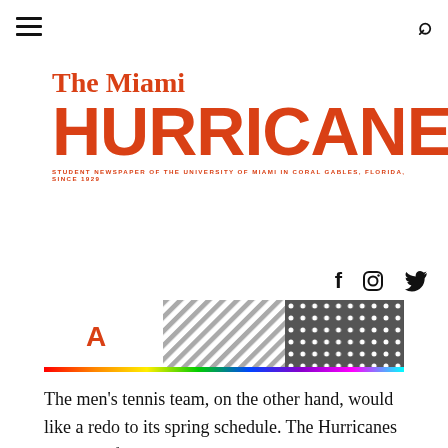The Miami Hurricane — Student Newspaper of the University of Miami in Coral Gables, Florida, Since 1929
[Figure (logo): The Miami Hurricane newspaper logo in orange/red with bold serif and sans-serif fonts, with subtitle 'Student Newspaper of the University of Miami in Coral Gables, Florida, Since 1929']
[Figure (infographic): Social media icons: Facebook (f), Instagram (camera), Twitter (bird)]
[Figure (photo): Advertisement banner showing Adobe logo on left, diagonal stripe pattern in center, and polka dot pattern on right, with rainbow color bar at bottom]
The men's tennis team, on the other hand, would like a redo to its spring schedule. The Hurricanes have lost four